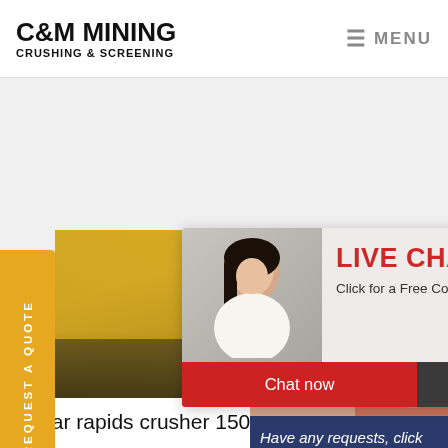C&M MINING CRUSHING & SCREENING | MENU
Request a quote
REQUEST A QUOTE
[Figure (photo): Industrial yellow machinery with workers in hard hats, and a live chat popup overlay showing a woman and text 'LIVE CHAT - Click for a Free Consultation' with Chat now / Chat later buttons. Right side shows a customer service representative with headset and a 'Have any requests, click here. Quotation' box.]
LIVE CHAT
Click for a Free Consultation
Chat now
Chat later
Have any requests, click here.
Quotation
cedar rapids crusher 150 tph